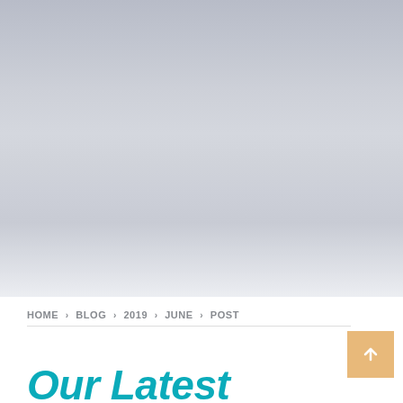[Figure (photo): Hero banner image with a grey-blue gradient background, representing a decorative header area of a blog website.]
HOME › BLOG › 2019 › JUNE › POST
Our Latest